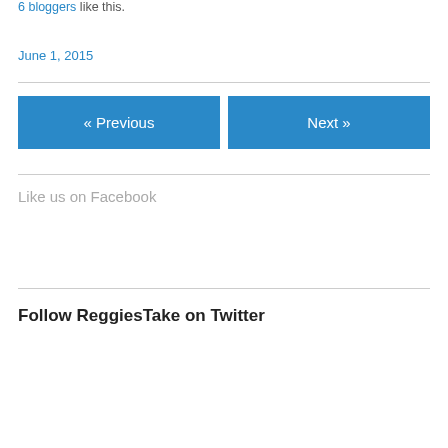6 bloggers like this.
June 1, 2015
« Previous
Next »
Like us on Facebook
Follow ReggiesTake on Twitter